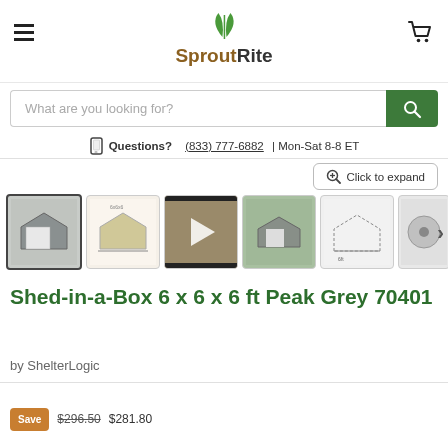[Figure (logo): SproutRite logo with green leaf icon and two-tone wordmark (brown 'Sprout', grey 'Rite')]
What are you looking for?
Questions? (833) 777-6882 | Mon-Sat 8-8 ET
Click to expand
[Figure (photo): Product image thumbnails: shed exterior, spec diagram, video thumbnail, outdoor photo, dimension drawing, hardware close-up]
Shed-in-a-Box 6 x 6 x 6 ft Peak Grey 70401
by ShelterLogic
$296.50  $281.80